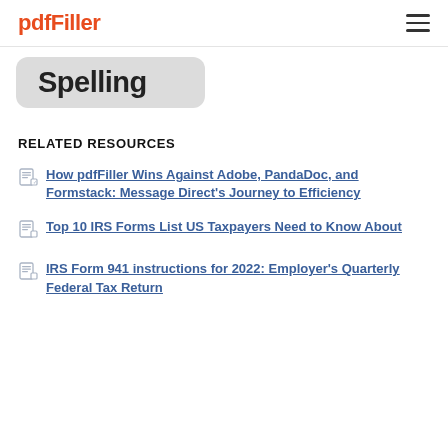pdfFiller
[Figure (screenshot): Partially visible 'Spelling' button/tab with rounded rectangle grey background]
RELATED RESOURCES
How pdfFiller Wins Against Adobe, PandaDoc, and Formstack: Message Direct's Journey to Efficiency
Top 10 IRS Forms List US Taxpayers Need to Know About
IRS Form 941 instructions for 2022: Employer's Quarterly Federal Tax Return